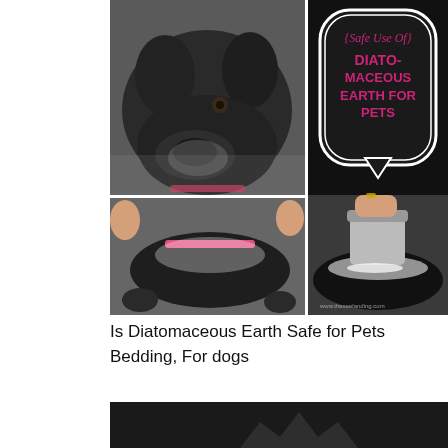[Figure (photo): Collage of four images: top-left is a close-up of a black dog's face, top-right is a dark badge graphic with text 'Safe Use Of DIATOMACEOUS EARTH FOR PETS', bottom-left shows hands applying powder to a black dog's back with a pink collar, bottom-right shows a hand holding a jar of white powder over a black dog's back with white powder visible, watermark 'www.theseelanding.com'.]
Is Diatomaceous Earth Safe for Pets Bedding, For dogs
[Figure (photo): Dark background image partially visible at the bottom, showing a cat or pet silhouette/crown shape in dark gray.]